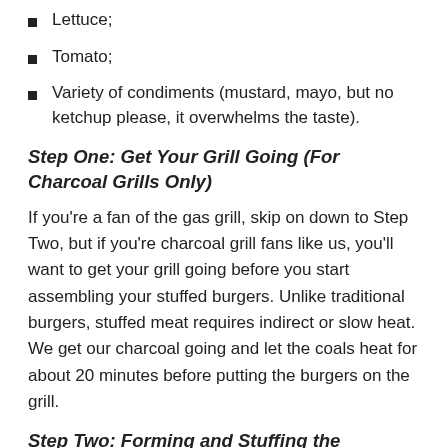Lettuce;
Tomato;
Variety of condiments (mustard, mayo, but no ketchup please, it overwhelms the taste).
Step One: Get Your Grill Going (For Charcoal Grills Only)
If you're a fan of the gas grill, skip on down to Step Two, but if you're charcoal grill fans like us, you'll want to get your grill going before you start assembling your stuffed burgers. Unlike traditional burgers, stuffed meat requires indirect or slow heat. We get our charcoal going and let the coals heat for about 20 minutes before putting the burgers on the grill.
Step Two: Forming and Stuffing the Hamburger Patties